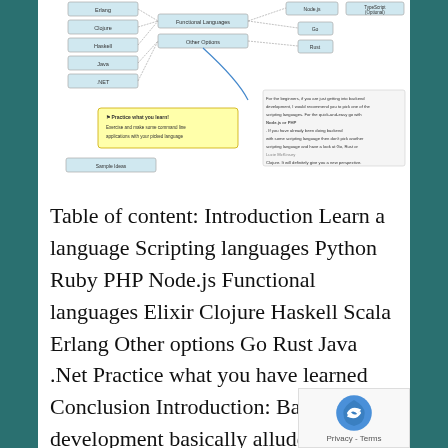[Figure (flowchart): A flowchart/mind-map diagram showing backend language categories: Scripting languages (Python, Ruby, PHP, Node.js), Functional Languages (Elixir, Clojure, Haskell, Scala, Erlang), Other Options, with right side showing Node.js, TypeScript (Optional), Go, Rust. A yellow info box says 'Practice what you learn! Exercise and make some command line applications with your picked language'. A text box at right provides beginner advice. A 'Sample Ideas' box appears at bottom left.]
Table of content: Introduction Learn a language Scripting languages Python Ruby PHP Node.js Functional languages Elixir Clojure Haskell Scala Erlang Other options Go Rust Java .Net Practice what you have learned Conclusion Introduction: Back end development basically alludes to the application server-side where you are basically centered on how the website